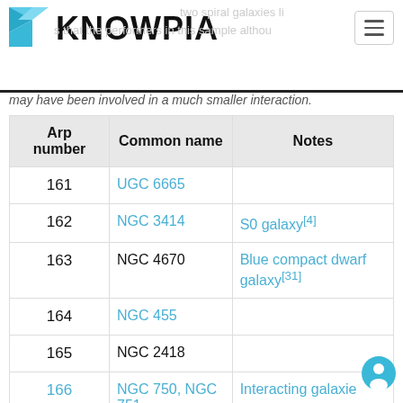KNOWPIA
may have been involved in a much smaller interaction.
| Arp number | Common name | Notes |
| --- | --- | --- |
| 161 | UGC 6665 |  |
| 162 | NGC 3414 | S0 galaxy[4] |
| 163 | NGC 4670 | Blue compact dwarf galaxy[31] |
| 164 | NGC 455 |  |
| 165 | NGC 2418 |  |
| 166 | NGC 750, NGC 751 | Interacting galaxies |